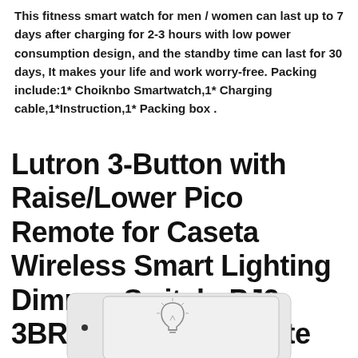This fitness smart watch for men / women can last up to 7 days after charging for 2-3 hours with low power consumption design, and the standby time can last for 30 days, It makes your life and work worry-free. Packing include:1* Choiknbo Smartwatch,1* Charging cable,1*Instruction,1* Packing box .
Lutron 3-Button with Raise/Lower Pico Remote for Caseta Wireless Smart Lighting Dimmer Switch, PJ2-3BRL-WH-L01R, White
[Figure (photo): White Lutron Pico remote control device with a light bulb icon button, shown against a white background]